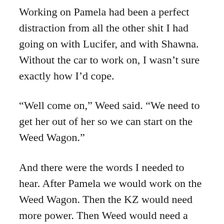Working on Pamela had been a perfect distraction from all the other shit I had going on with Lucifer, and with Shawna. Without the car to work on, I wasn't sure exactly how I'd cope.
“Well come on,” Weed said. “We need to get her out of her so we can start on the Weed Wagon.”
And there were the words I needed to hear. After Pamela we would work on the Weed Wagon. Then the KZ would need more power. Then Weed would need a bike, or another car, or an airplane. I really didn’t know what he would come up with after that, all I really knew was that as long as Weed was around, I’d have everything I needed to get by.